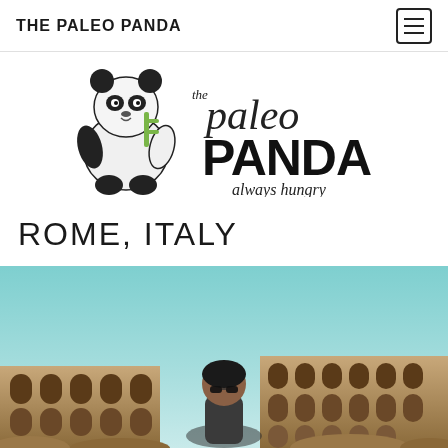THE PALEO PANDA
[Figure (logo): The Paleo Panda logo: illustrated panda bear sitting, with text 'the paleo PANDA always hungry' in mixed serif and handwritten fonts]
ROME, ITALY
[Figure (photo): Photo of a woman with sunglasses standing in front of the Colosseum in Rome, Italy, under a blue sky]